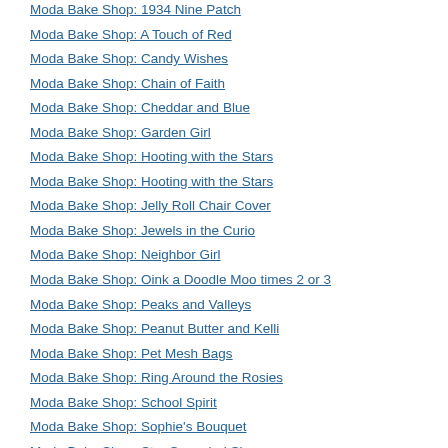Moda Bake Shop: 1934 Nine Patch
Moda Bake Shop: A Touch of Red
Moda Bake Shop: Candy Wishes
Moda Bake Shop: Chain of Faith
Moda Bake Shop: Cheddar and Blue
Moda Bake Shop: Garden Girl
Moda Bake Shop: Hooting with the Stars
Moda Bake Shop: Hooting with the Stars
Moda Bake Shop: Jelly Roll Chair Cover
Moda Bake Shop: Jewels in the Curio
Moda Bake Shop: Neighbor Girl
Moda Bake Shop: Oink a Doodle Moo times 2 or 3
Moda Bake Shop: Peaks and Valleys
Moda Bake Shop: Peanut Butter and Kelli
Moda Bake Shop: Pet Mesh Bags
Moda Bake Shop: Ring Around the Rosies
Moda Bake Shop: School Spirit
Moda Bake Shop: Sophie's Bouquet
Moda Bake Shop: Star Spangled Sky